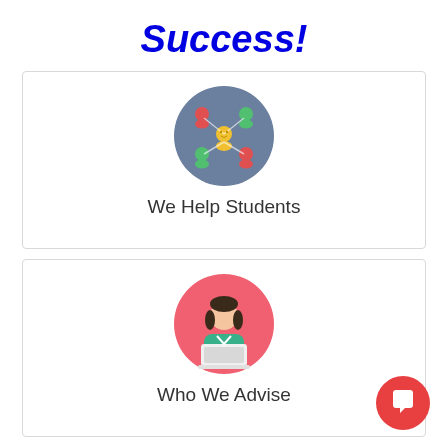Success!
[Figure (illustration): A circular flat icon with a gray-blue background showing a yellow person in the center connected to four colored person icons (red top-left, green top-right, green bottom-left, red bottom-right) in a network/hub pattern.]
We Help Students
[Figure (illustration): A circular flat icon with a pink/salmon background showing a woman with dark hair sitting behind a white laptop computer, wearing a teal top.]
Who We Advise
[Figure (illustration): A red circular chat button with a white speech bubble icon, positioned in the bottom right corner.]